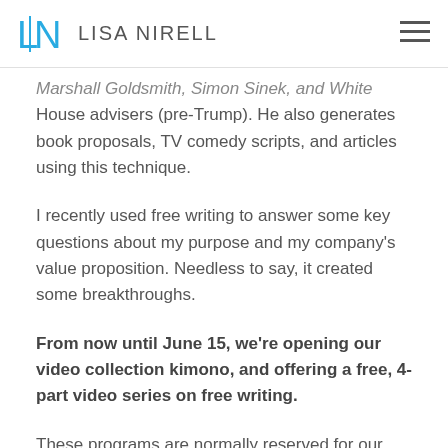LISA NIRELL
Marshall Goldsmith, Simon Sinek, and White House advisers (pre-Trump). He also generates book proposals, TV comedy scripts, and articles using this technique.
I recently used free writing to answer some key questions about my purpose and my company's value proposition. Needless to say, it created some breakthroughs.
From now until June 15, we're opening our video collection kimono, and offering a free, 4-part video series on free writing.
These programs are normally reserved for our